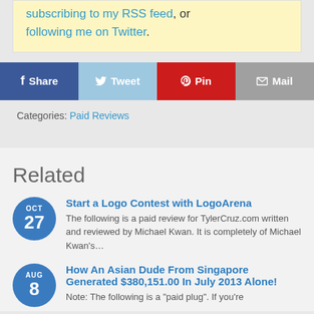subscribing to my RSS feed, or following me on Twitter.
[Figure (screenshot): Social share buttons: Share (Facebook, blue), Tweet (Twitter, light blue), Pin (Pinterest, red), Mail (grey)]
Categories: Paid Reviews
Related
Start a Logo Contest with LogoArena
The following is a paid review for TylerCruz.com written and reviewed by Michael Kwan. It is completely of Michael Kwan's…
How An Asian Dude From Singapore Generated $380,151.00 In July 2013 Alone!
Note: The following is a "paid plug". If you're